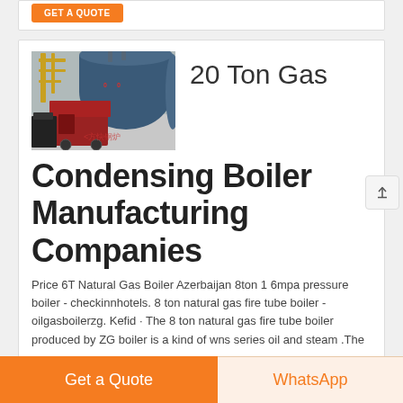[Figure (screenshot): Partial view of a web page section with an orange GET A QUOTE button at the top]
[Figure (photo): Photo of industrial gas boilers in a factory setting, with Chinese text watermark reading 方快钢炉. Large cylindrical blue boiler vessels with red components visible.]
20 Ton Gas
Condensing Boiler Manufacturing Companies
Price 6T Natural Gas Boiler Azerbaijan 8ton 1 6mpa pressure boiler - checkinnhotels. 8 ton natural gas fire tube boiler - oilgasboilerzg. Kefid · The 8 ton natural gas fire tube boiler produced by ZG boiler is a kind of wns series oil and steam .The
Get a Quote   WhatsApp